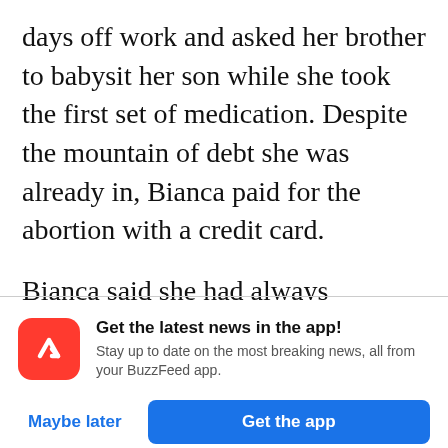days off work and asked her brother to babysit her son while she took the first set of medication. Despite the mountain of debt she was already in, Bianca paid for the abortion with a credit card.
Bianca said she had always believed that people should be able to determine their own family planning. “I think given any other circumstances, even if we were financially OK,
[Figure (logo): BuzzFeed app notification banner with red BuzzFeed trending arrow logo icon, text 'Get the latest news in the app! Stay up to date on the most breaking news, all from your BuzzFeed app.', and two buttons: 'Maybe later' and 'Get the app'.]